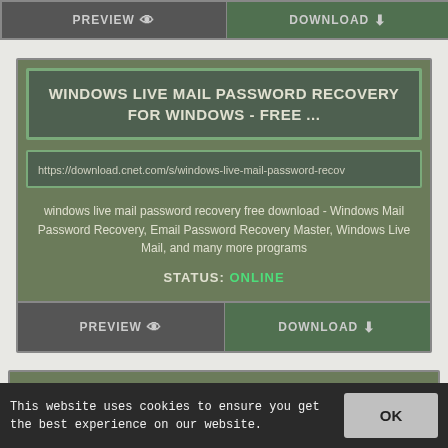[Figure (screenshot): Top partial button bar with PREVIEW and DOWNLOAD buttons]
WINDOWS LIVE MAIL PASSWORD RECOVERY FOR WINDOWS - FREE ...
https://download.cnet.com/s/windows-live-mail-password-recov
windows live mail password recovery free download - Windows Mail Password Recovery, Email Password Recovery Master, Windows Live Mail, and many more programs
STATUS: ONLINE
[Figure (screenshot): PREVIEW and DOWNLOAD button bar at bottom of card]
[Figure (screenshot): Partially visible third card at bottom of page]
This website uses cookies to ensure you get the best experience on our website.